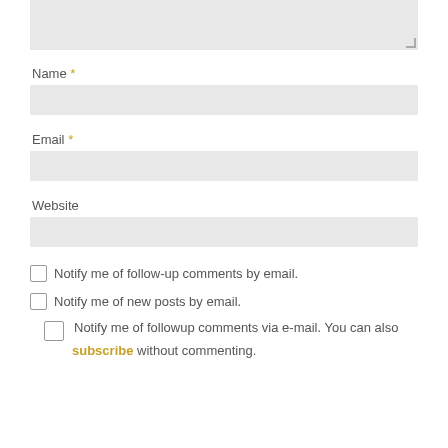[textarea stub at top]
Name *
[Name input field]
Email *
[Email input field]
Website
[Website input field]
Notify me of follow-up comments by email.
Notify me of new posts by email.
Notify me of followup comments via e-mail. You can also subscribe without commenting.